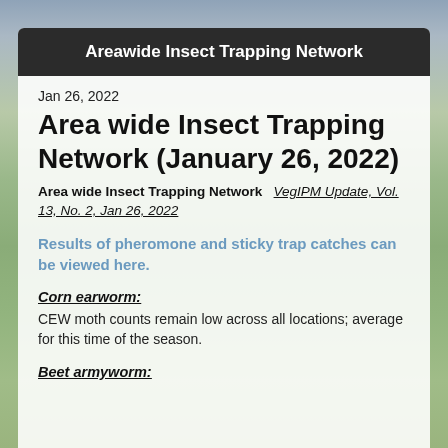Areawide Insect Trapping Network
Jan 26, 2022
Area wide Insect Trapping Network (January 26, 2022)
Area wide Insect Trapping Network   VegIPM Update, Vol. 13, No. 2, Jan 26, 2022
Results of pheromone and sticky trap catches can be viewed here.
Corn earworm:
CEW moth counts remain low across all locations; average for this time of the season.
Beet armyworm: